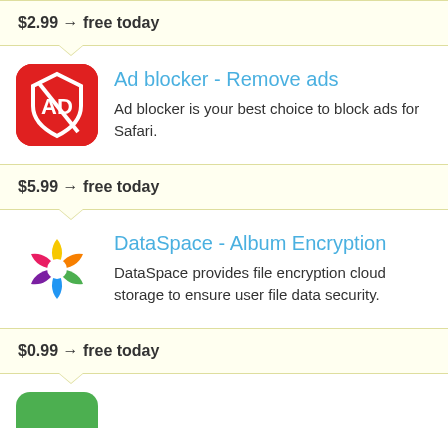$2.99 → free today
Ad blocker - Remove ads
Ad blocker is your best choice to block ads for Safari.
$5.99 → free today
DataSpace - Album Encryption
DataSpace provides file encryption cloud storage to ensure user file data security.
$0.99 → free today